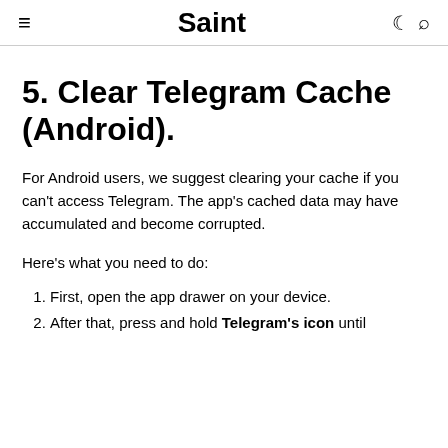≡  Saint  ☾ ⌕
5. Clear Telegram Cache (Android).
For Android users, we suggest clearing your cache if you can't access Telegram. The app's cached data may have accumulated and become corrupted.
Here's what you need to do:
First, open the app drawer on your device.
After that, press and hold Telegram's icon until